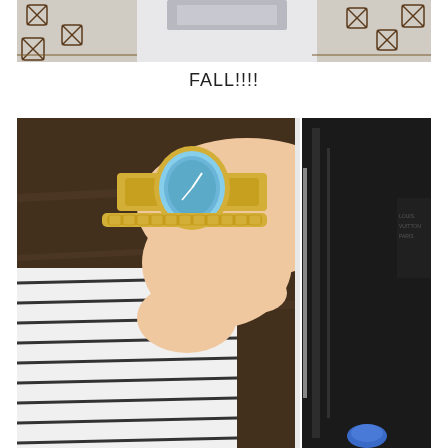[Figure (photo): Top portion of a photo showing a decorative rug or fabric with dark cross-stitch or embroidered pattern on a light grey/white background, with folded grey fabric visible at top center.]
FALL!!!!
[Figure (photo): A person's hand and wrist wearing a gold watch with a blue/teal face and a gold bracelet, reaching toward a large black bag or item. The person is wearing a white and black striped top. A blue fingernail is visible at the bottom. The background shows a dark wooden surface.]